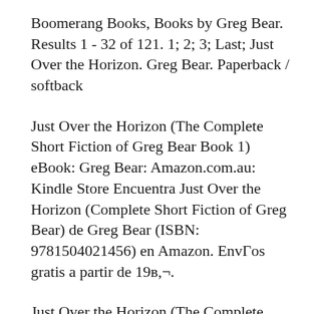Boomerang Books, Books by Greg Bear. Results 1 - 32 of 121. 1; 2; 3; Last; Just Over the Horizon. Greg Bear. Paperback / softback
Just Over the Horizon (The Complete Short Fiction of Greg Bear Book 1) eBook: Greg Bear: Amazon.com.au: Kindle Store Encuentra Just Over the Horizon (Complete Short Fiction of Greg Bear) de Greg Bear (ISBN: 9781504021456) en Amazon. EnvÍos gratis a partir de 19€.
Just Over the Horizon (The Complete Short Fiction of Greg Bear Book 1) eBook: Greg Bear: Amazon.com.au: Kindle Store Get FREE shipping on Just Over the Horizon by Greg Bear, from wordery.com. 13 dazzling stories and a rare